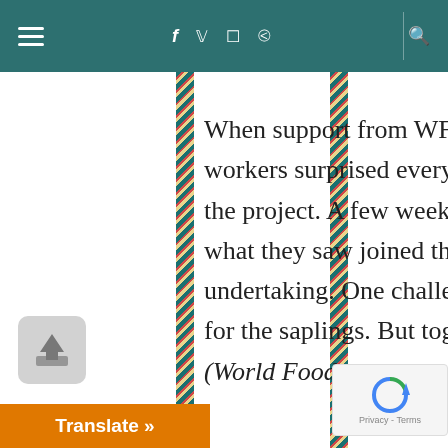Navigation bar with hamburger menu, social icons (f, twitter, instagram, pinterest) and search icon
When support from WFP ended in November 2013, the workers surprised everyone by deciding to continue with the project. A few weeks later, 87 more people inspired by what they saw joined the association. It was not an easy undertaking. One challenge was how to get enough water for the saplings. But together, the villagers defied the odds (World Food programme; 2015).
Now, two years later, the farmers can proudly share their experience and quickly point out how the trees have helped rehabilitate the land once [damaged] by soil erosion (World Food